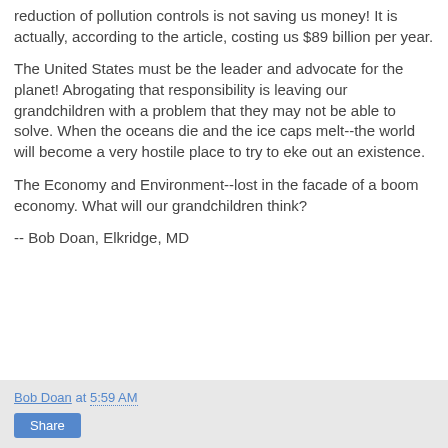reduction of pollution controls is not saving us money! It is actually, according to the article, costing us $89 billion per year.
The United States must be the leader and advocate for the planet! Abrogating that responsibility is leaving our grandchildren with a problem that they may not be able to solve. When the oceans die and the ice caps melt--the world will become a very hostile place to try to eke out an existence.
The Economy and Environment--lost in the facade of a boom economy. What will our grandchildren think?
-- Bob Doan, Elkridge, MD
Bob Doan at 5:59 AM  Share